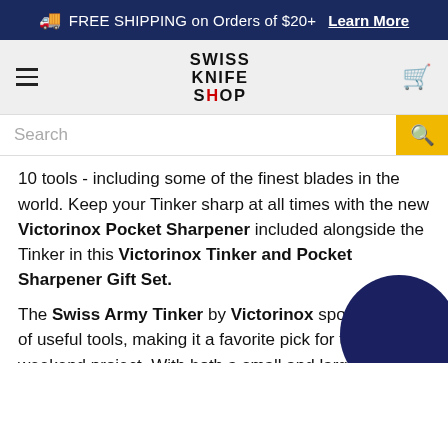FREE SHIPPING on Orders of $20+  Learn More
[Figure (logo): Swiss Knife Shop logo with hamburger menu and cart icon]
Search
10 tools - including some of the finest blades in the world. Keep your Tinker sharp at all times with the new Victorinox Pocket Sharpener included alongside the Tinker in this Victorinox Tinker and Pocket Sharpener Gift Set.
The Swiss Army Tinker by Victorinox sports a bevy of useful tools, making it a favorite pick for that weekend project. With both a small and large screwdriver and a Phillips screwdriver this tool will make quick work of many projects.
The lightweight Victorinox Carbide Pocket Sharpener features a key ring to keep it close at